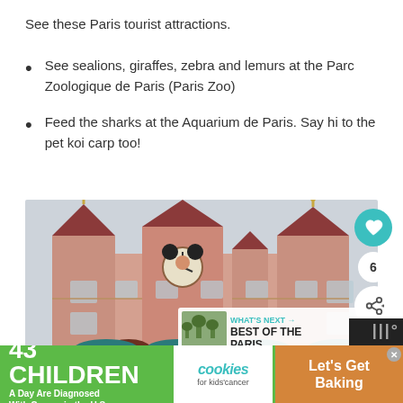See these Paris tourist attractions.
See sealions, giraffes, zebra and lemurs at the Parc Zoologique de Paris (Paris Zoo)
Feed the sharks at the Aquarium de Paris. Say hi to the pet koi carp too!
[Figure (photo): Photograph of Disneyland Paris entrance building — a large ornate pink Victorian-style structure with red rooftops and turrets, featuring a Mickey Mouse clock in the center. Social media overlay icons (heart button, share button, count '6') visible on the right side. A 'WHAT'S NEXT → BEST OF THE PARIS...' overlay panel appears in the lower right with a thumbnail image.]
43 CHILDREN A Day Are Diagnosed With Cancer in the U.S.   cookies for kids' cancer   Let's Get Baking